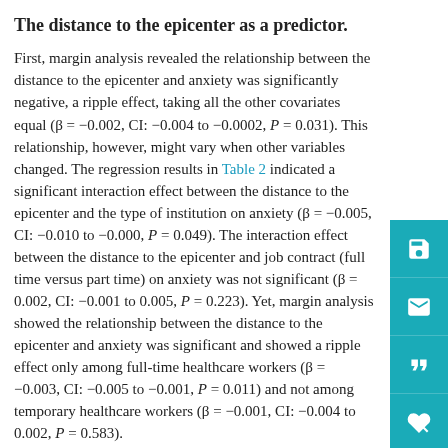The distance to the epicenter as a predictor.
First, margin analysis revealed the relationship between the distance to the epicenter and anxiety was significantly negative, a ripple effect, taking all the other covariates equal (β = −0.002, CI: −0.004 to −0.0002, P = 0.031). This relationship, however, might vary when other variables changed. The regression results in Table 2 indicated a significant interaction effect between the distance to the epicenter and the type of institution on anxiety (β = −0.005, CI: −0.010 to −0.000, P = 0.049). The interaction effect between the distance to the epicenter and job contract (full time versus part time) on anxiety was not significant (β = 0.002, CI: −0.001 to 0.005, P = 0.223). Yet, margin analysis showed the relationship between the distance to the epicenter and anxiety was significant and showed a ripple effect only among full-time healthcare workers (β = −0.003, CI: −0.005 to −0.001, P = 0.011) and not among temporary healthcare workers (β = −0.001, CI: −0.004 to 0.002, P = 0.583).
Second, margin analysis revealed the relationship between the distance to the epicenter and anxiety was significantly negative, a